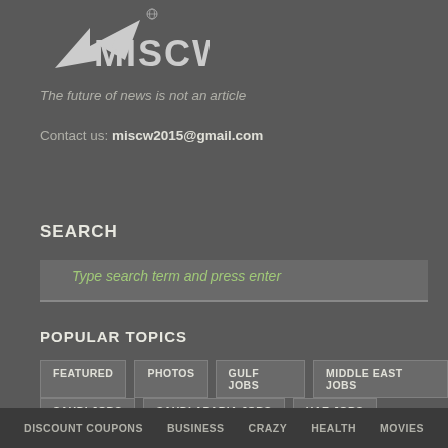[Figure (logo): MISCW logo with stylized bird/arrow graphic and globe icon]
The future of news is not an article
Contact us: miscw2015@gmail.com
SEARCH
Type search term and press enter
POPULAR TOPICS
FEATURED
PHOTOS
GULF JOBS
MIDDLE EAST JOBS
SAUDI JOBS
SAUDI ARABIA JOBS
UAE JOBS
DISCOUNT COUPONS   BUSINESS   CRAZY   HEALTH   MOVIES